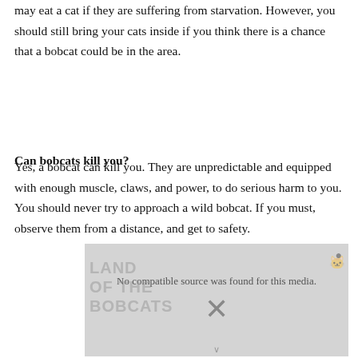may eat a cat if they are suffering from starvation. However, you should still bring your cats inside if you think there is a chance that a bobcat could be in the area.
Can bobcats kill you?
Yes, a bobcat can kill you. They are unpredictable and equipped with enough muscle, claws, and power, to do serious harm to you. You should never try to approach a wild bobcat. If you must, observe them from a distance, and get to safety.
[Figure (other): Video media placeholder with text 'No compatible source was found for this media.' and a close button and X mark. Background shows faint text 'LAND OF THE BOBCATS' with a bobcat image watermark.]